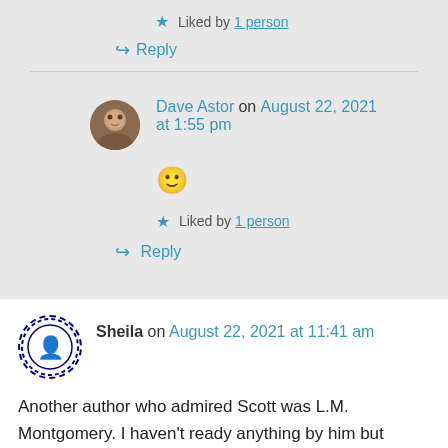★ Liked by 1 person
↪ Reply
Dave Astor on August 22, 2021 at 1:55 pm
🙂
★ Liked by 1 person
↪ Reply
Sheila on August 22, 2021 at 11:41 am
Another author who admired Scott was L.M. Montgomery. I haven't ready anything by him but